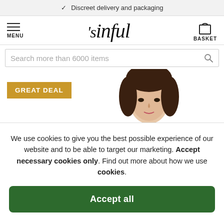✓ Discreet delivery and packaging
[Figure (screenshot): Navigation bar with hamburger menu (MENU), 'sinful' logo in serif italic font, and shopping bag icon (BASKET)]
Search more than 6000 items
[Figure (photo): GREAT DEAL badge in gold/amber color on the left, partial photo of a woman's face with dark hair on the right]
We use cookies to give you the best possible experience of our website and to be able to target our marketing. Accept necessary cookies only. Find out more about how we use cookies.
Accept all